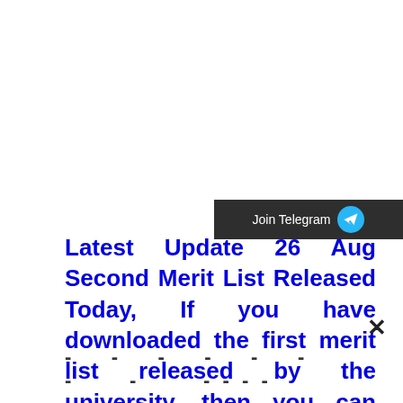[Figure (other): Dark banner with 'Join Telegram' text and Telegram paper plane icon in blue circle]
Latest Update 26 Aug Second Merit List Released Today, If you have downloaded the first merit list released by the university, then you can also download the second merit list online.
× (close button)
- - - - - - - - - - - - - - - - - - - - (dashed line)